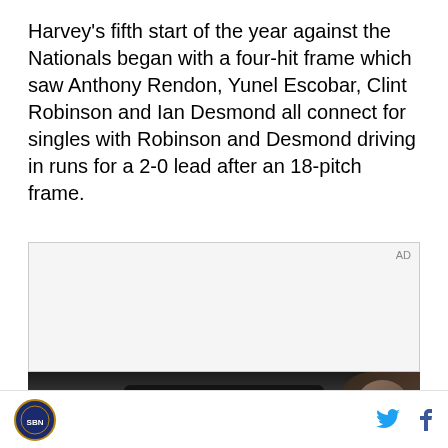Harvey's fifth start of the year against the Nationals began with a four-hit frame which saw Anthony Rendon, Yunel Escobar, Clint Robinson and Ian Desmond all connect for singles with Robinson and Desmond driving in runs for a 2-0 lead after an 18-pitch frame.
[Figure (other): Advertisement container with 'AD' label in top right corner, light gray background]
[Figure (photo): Dark photo showing a person in a car holding a smartphone/tablet device, partial face visible on right side]
SB Nation logo | Twitter icon | Facebook icon